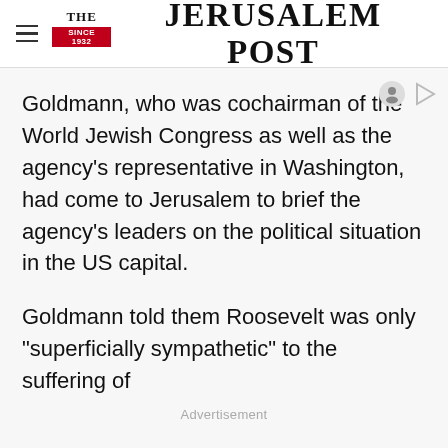THE JERUSALEM POST
Goldmann, who was cochairman of the World Jewish Congress as well as the agency's representative in Washington, had come to Jerusalem to brief the agency's leaders on the political situation in the US capital.
Goldmann told them Roosevelt was only “superficially sympathetic” to the suffering of
Advertisement